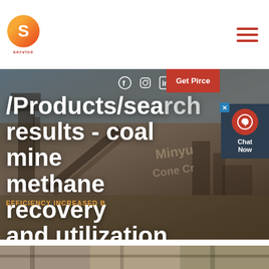[Figure (logo): Round orange-red logo with white S letter and 'service' text below]
[Figure (other): Hamburger menu icon with three red horizontal lines]
[Figure (photo): Industrial mining/crushing plant equipment photograph used as hero banner background]
/Products/search results - coal mine methane recovery and utilization
[Figure (other): Social media icons: Facebook, Instagram, LinkedIn]
[Figure (other): Get Pirce red button]
[Figure (other): Chat Now widget with headset icon]
EFFICIENCY INCREASED B
[Figure (photo): Bottom strip showing partial view of industrial site photograph]